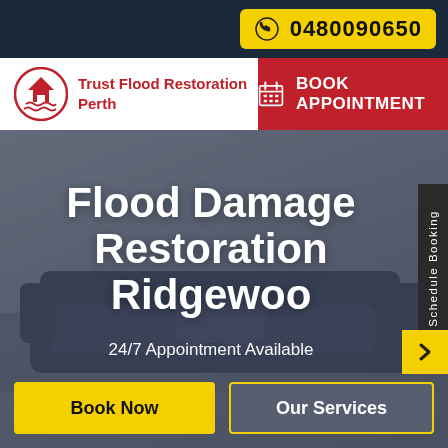0480090650
[Figure (logo): Trust Flood Restoration Perth logo with house/water icon in red circle]
Trust Flood Restoration Perth
BOOK APPOINTMENT
Flood Damage Restoration Ridgewood
24/7 Appointment Available
Book Now
Our Services